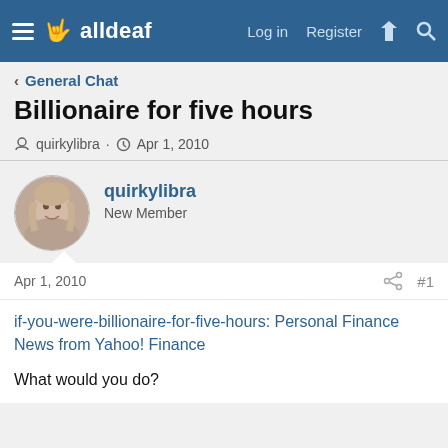alldeaf — Log in  Register
General Chat
Billionaire for five hours
quirkylibra · Apr 1, 2010
quirkylibra
New Member
Apr 1, 2010  #1
if-you-were-billionaire-for-five-hours: Personal Finance News from Yahoo! Finance
What would you do?